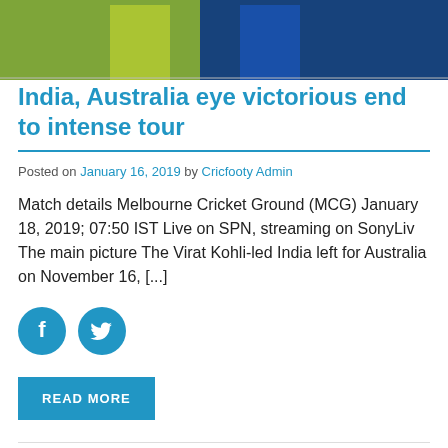[Figure (photo): Cropped photo showing cricket players in yellow and blue jerseys]
India, Australia eye victorious end to intense tour
Posted on January 16, 2019 by Cricfooty Admin
Match details Melbourne Cricket Ground (MCG) January 18, 2019; 07:50 IST Live on SPN, streaming on SonyLiv The main picture The Virat Kohli-led India left for Australia on November 16, [...]
[Figure (illustration): Facebook and Twitter social share icon buttons]
READ MORE
Australia Cricket / India tour of Australia 2018-19